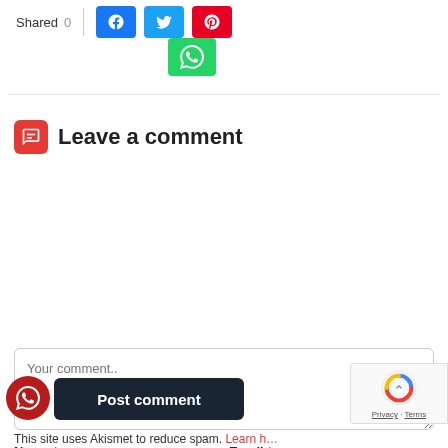[Figure (screenshot): Social share bar with Shared label, count 0, Facebook, Twitter, Pinterest, and WhatsApp buttons]
Leave a comment
[Figure (screenshot): Comment form with textarea placeholder 'Your comment..', Name and Email fields with required asterisks, two notification checkboxes, Post comment button, WhatsApp floating button, reCAPTCHA badge, and partial Akismet text at bottom]